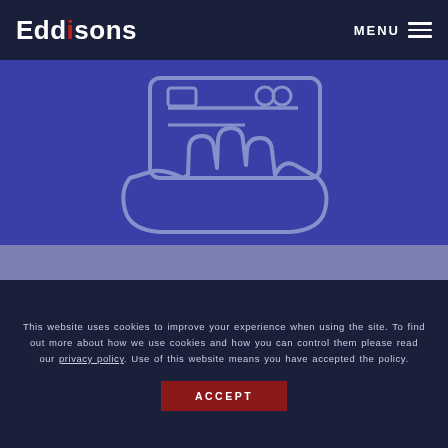Eddisons   MENU
[Figure (illustration): Blue banner with a white outline illustration of a hand holding a card/document, representing financial or property services. The background is deep blue/indigo with a lighter blue-purple band below.]
This website uses cookies to improve your experience when using the site. To find out more about how we use cookies and how you can control them please read our privacy policy. Use of this website means you have accepted the policy.
ACCEPT